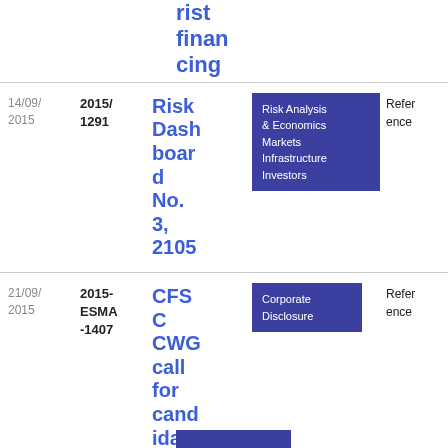| Date | Reference | Title | Tags | Type | Download |
| --- | --- | --- | --- | --- | --- |
| 14/09/2015 | 2015/1291 | Risk Dashboard No. 3, 2105 | Risk Analysis & Economics, Markets, Infrastructure, Investors | Reference | PDF 84 8.31 KB |
| 21/09/2015 | 2015-ESMA-1407 | CFSC CWG call for candidates | Corporate Disclosure | Reference | PDF 18 5.16 KB |